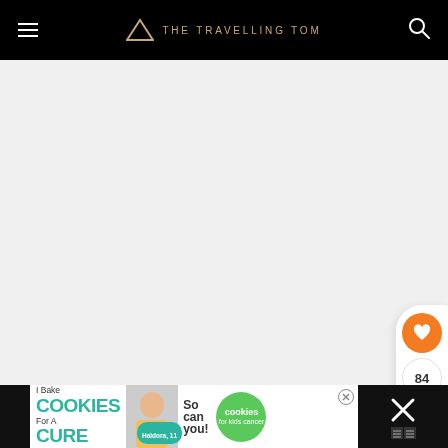THE TRAVELLING TOM
[Figure (screenshot): Large white/light gray content area below the navigation header, representing the main article image area]
[Figure (infographic): Social sidebar with orange heart button, like count 84, and share button]
[Figure (infographic): Advertisement banner: 'I Bake COOKIES For A CURE - Haldora, 11 Cancer Survivor - So can you! - cookies for kids cancer' with close button and dark right panel]